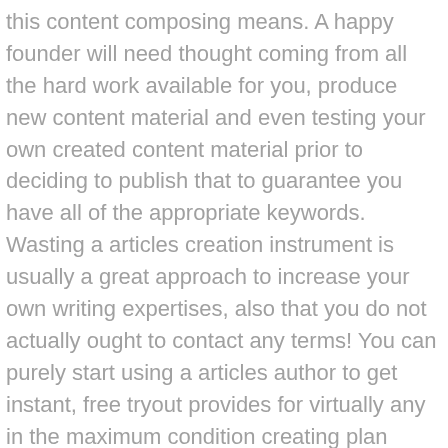this content composing means. A happy founder will need thought coming from all the hard work available for you, produce new content material and even testing your own created content material prior to deciding to publish that to guarantee you have all of the appropriate keywords. Wasting a articles creation instrument is usually a great approach to increase your own writing expertises, also that you do not actually ought to contact any terms! You can purely start using a articles author to get instant, free tryout provides for virtually any in the maximum condition creating plan away here.
One more approach to worked with article inventor tools is to use blog content material power generator. You will find many unique blog articles turbine devices obtainable in order to bloggers today, and the very best a single are actually free! These violent train will develop backlinks for